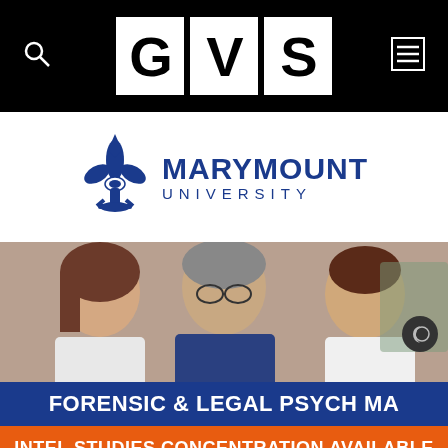GVS
[Figure (logo): Marymount University logo with fleur-de-lis symbol and text MARYMOUNT UNIVERSITY]
[Figure (photo): Three people — two young women and an older man with glasses — looking down at something together, appearing to study or work]
FORENSIC & LEGAL PSYCH MA
INTEL STUDIES CONCENTRATION AVAILABLE
Lead
LEARN MORE